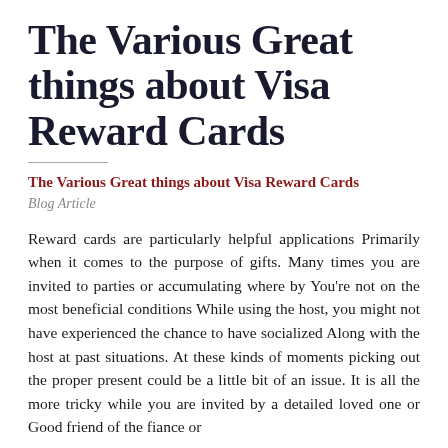The Various Great things about Visa Reward Cards
The Various Great things about Visa Reward Cards
Blog Article
Reward cards are particularly helpful applications Primarily when it comes to the purpose of gifts. Many times you are invited to parties or accumulating where by You're not on the most beneficial conditions While using the host, you might not have experienced the chance to have socialized Along with the host at past situations. At these kinds of moments picking out the proper present could be a little bit of an issue. It is all the more tricky while you are invited by a detailed loved one or Good friend of the fiance or